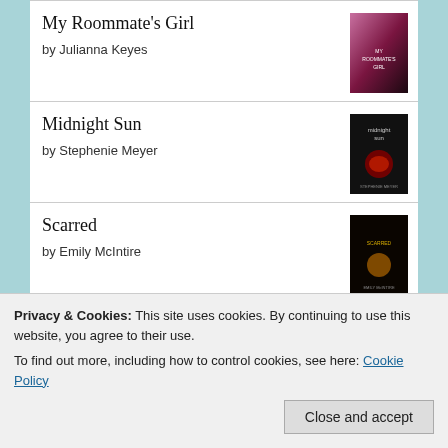My Roommate's Girl by Julianna Keyes
Midnight Sun by Stephenie Meyer
Scarred by Emily McIntire
BITCH. LION KING INSPIRED AND SCAR. GIVE IT ALL TO ME
Privacy & Cookies: This site uses cookies. By continuing to use this website, you agree to their use.
To find out more, including how to control cookies, see here: Cookie Policy
Close and accept